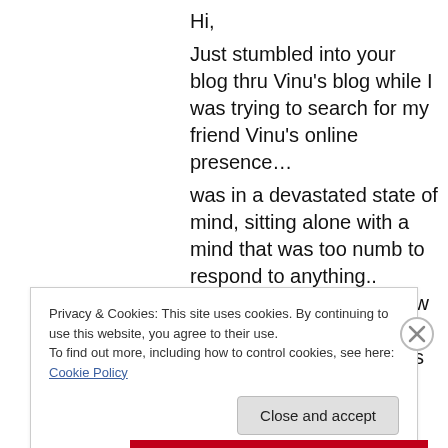Hi,

Just stumbled into your blog thru Vinu's blog while I was trying to search for my friend Vinu's online presence…

was in a devastated state of mind, sitting alone with a mind that was too numb to respond to anything.. reading this intro somehow got my thoughts back into some sense…everything's not so lost in this world

Loved reading all your blogs
Privacy & Cookies: This site uses cookies. By continuing to use this website, you agree to their use.
To find out more, including how to control cookies, see here: Cookie Policy